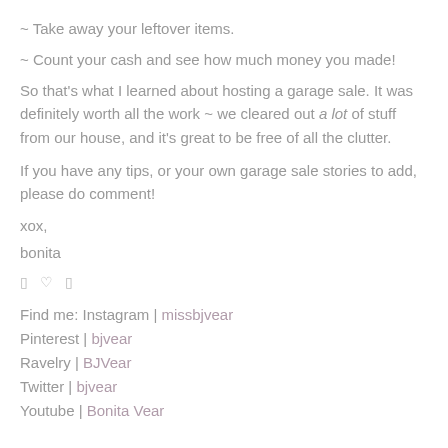~ Take away your leftover items.
~ Count your cash and see how much money you made!
So that's what I learned about hosting a garage sale. It was definitely worth all the work ~ we cleared out a lot of stuff from our house, and it's great to be free of all the clutter.
If you have any tips, or your own garage sale stories to add, please do comment!
xox,
bonita
🔶 ♡ 🔷
Find me: Instagram | missbjvear
Pinterest | bjvear
Ravelry | BJVear
Twitter | bjvear
Youtube | Bonita Vear